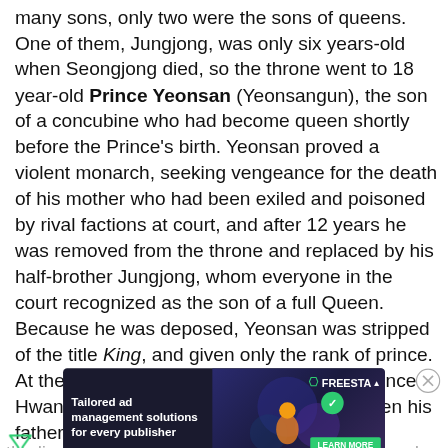many sons, only two were the sons of queens. One of them, Jungjong, was only six years-old when Seongjong died, so the throne went to 18 year-old Prince Yeonsan (Yeonsangun), the son of a concubine who had become queen shortly before the Prince's birth. Yeonsan proved a violent monarch, seeking vengeance for the death of his mother who had been exiled and poisoned by rival factions at court, and after 12 years he was removed from the throne and replaced by his half-brother Jungjong, whom everyone in the court recognized as the son of a full Queen. Because he was deposed, Yeonsan was stripped of the title King, and given only the rank of prince. At the same time, Yeonsan's son, Crown Prince Hwang, became ineligible for the throne when his father was deposed, so the line of succession moved to a different branch of the family.
[Figure (screenshot): Advertisement overlay: dark navy background with text 'Tailored ad management solutions for every publisher', FREESTA branding, decorative graphic elements, and a green LEARN MORE button. Close button (X) partially visible.]
King Jungjong ruled, looking for nearly 40 years. Jungjong was succeeded by his first son,